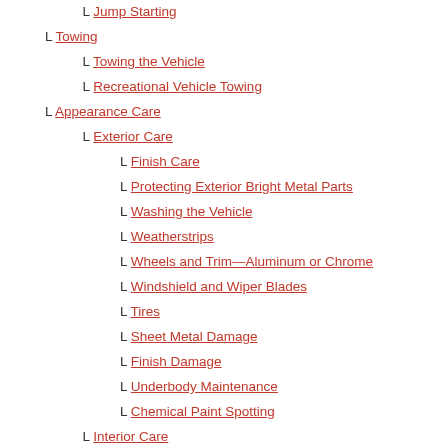L Jump Starting
L Towing
L Towing the Vehicle
L Recreational Vehicle Towing
L Appearance Care
L Exterior Care
L Finish Care
L Protecting Exterior Bright Metal Parts
L Washing the Vehicle
L Weatherstrips
L Wheels and Trim—Aluminum or Chrome
L Windshield and Wiper Blades
L Tires
L Sheet Metal Damage
L Finish Damage
L Underbody Maintenance
L Chemical Paint Spotting
L Interior Care
L Leather
L Instrument Panel, Vinyl, and Other Plastic Surfaces
L Care of Safety Belts
L Floor Mats